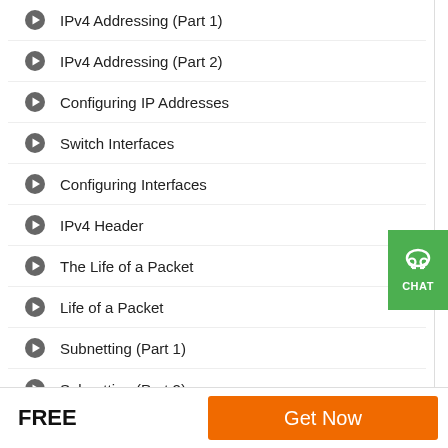IPv4 Addressing (Part 1)
IPv4 Addressing (Part 2)
Configuring IP Addresses
Switch Interfaces
Configuring Interfaces
IPv4 Header
The Life of a Packet
Life of a Packet
Subnetting (Part 1)
Subnetting (Part 2)
[Figure (infographic): Green chat support button with headphone icon and CHAT label]
FREE
Get Now